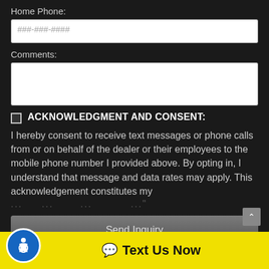Home Phone:
###-###-####
Comments:
ACKNOWLEDGMENT AND CONSENT:
I hereby consent to receive text messages or phone calls from or on behalf of the dealer or their employees to the mobile phone number I provided above. By opting in, I understand that message and data rates may apply. This acknowledgement constitutes my ...
Send Inquiry
Text Us Now